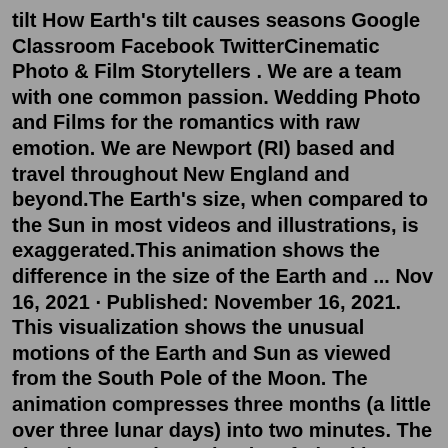tilt How Earth's tilt causes seasons Google Classroom Facebook TwitterCinematic Photo & Film Storytellers . We are a team with one common passion. Wedding Photo and Films for the romantics with raw emotion. We are Newport (RI) based and travel throughout New England and beyond.The Earth's size, when compared to the Sun in most videos and illustrations, is exaggerated.This animation shows the difference in the size of the Earth and ... Nov 16, 2021 · Published: November 16, 2021. This visualization shows the unusual motions of the Earth and Sun as viewed from the South Pole of the Moon. The animation compresses three months (a little over three lunar days) into two minutes. The virtual camera is on the rim of Shackleton Crater, partially visible in the bottom right, and is aimed at the Earth. Tides<br />Tides are created by the gravitational force of the Sun and Moon.<br />The Moon's gravity pulls Earth along an imaginary line connecting Earth and the Moon.<br />This creates